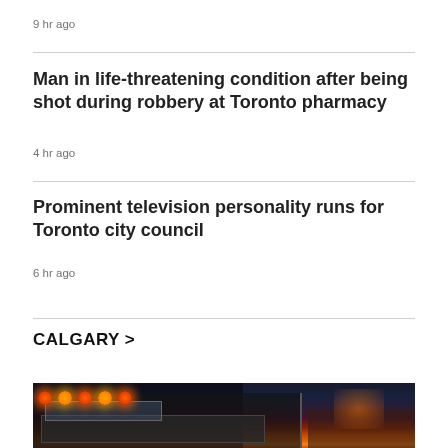9 hr ago
Man in life-threatening condition after being shot during robbery at Toronto pharmacy
4 hr ago
Prominent television personality runs for Toronto city council
6 hr ago
CALGARY >
[Figure (photo): Emergency fire truck with red and orange emergency lights illuminated at night or dusk, with a building silhouette in the background against a dark blue-purple sky with warm orange glow]